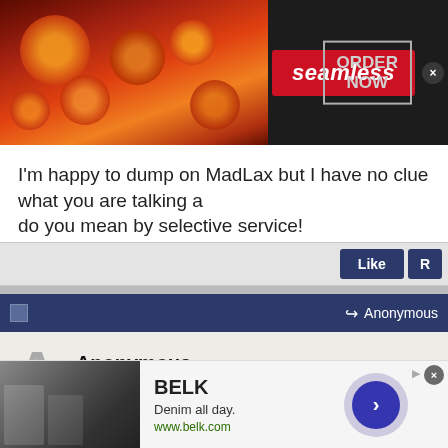[Figure (photo): Seamless food delivery advertisement banner with pizza image on left, red Seamless logo in center, and ORDER NOW button on right with dark background]
I'm happy to dump on MadLax but I have no clue what you are talking about. do you mean by selective service!
Like  R
Anonymous
Anonymous
Unregistered
Originally Posted by Anonymous
Originally Posted by Anonymous
[Figure (photo): BELK advertisement: Denim all day. www.belk.com with fashion model image and navigation arrow button]